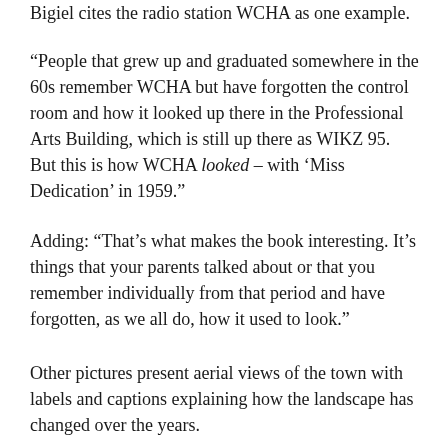Bigiel cites the radio station WCHA as one example.
“People that grew up and graduated somewhere in the 60s remember WCHA but have forgotten the control room and how it looked up there in the Professional Arts Building, which is still up there as WIKZ 95. But this is how WCHA looked – with ‘Miss Dedication’ in 1959.”
Adding: “That’s what makes the book interesting. It’s things that your parents talked about or that you remember individually from that period and have forgotten, as we all do, how it used to look.”
Other pictures present aerial views of the town with labels and captions explaining how the landscape has changed over the years.